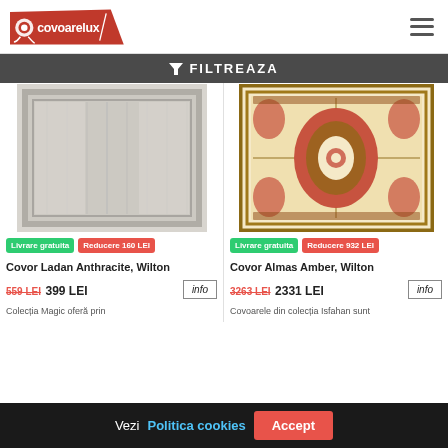[Figure (logo): Covoarelux logo with red rug roll icon and brand name in stylized font inside a trapezoid shape]
FILTREAZA
[Figure (photo): Grey/beige textured abstract rug - Covor Ladan Anthracite Wilton]
[Figure (photo): Red and cream traditional Persian-style rug - Covor Almas Amber Wilton]
Livrare gratuita   Reducere 160 LEI
Livrare gratuita   Reducere 932 LEI
Covor Ladan Anthracite, Wilton
Covor Almas Amber, Wilton
559 LEI  399 LEI
3263 LEI  2331 LEI
Colecția Magic oferă prin
Covoarele din colecția Isfahan sunt
Vezi Politica cookies   Accept